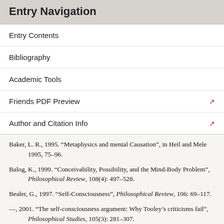Entry Navigation
Entry Contents
Bibliography
Academic Tools
Friends PDF Preview
Author and Citation Info
Baker, L. R., 1995. “Metaphysics and mental Causation”, in Heil and Mele 1995, 75–96.
Balog, K., 1999. “Conceivability, Possibility, and the Mind-Body Problem”, Philosophical Review, 108(4): 497–528.
Bealer, G., 1997. “Self-Consciousness”, Philosophical Review, 106: 69–117.
—, 2001. “The self-consciousness argument: Why Tooley’s criticisms fail”, Philosophical Studies, 105(3): 281–307.